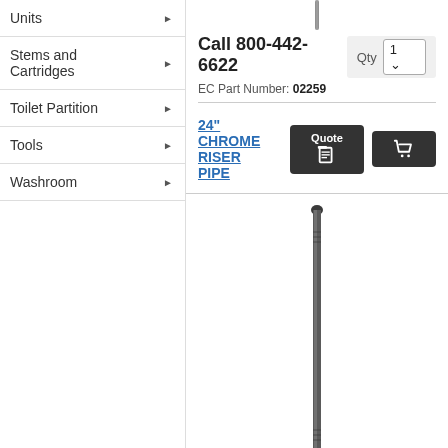Units
Stems and Cartridges
Toilet Partition
Tools
Washroom
Call 800-442-6622
EC Part Number: 02259
[Figure (photo): Chrome riser pipe, vertical, partially visible at top]
24" CHROME RISER PIPE
[Figure (photo): Long dark/grey riser pipe, vertical, full length visible]
Call 800-442-6622
EC Part Number: 55389